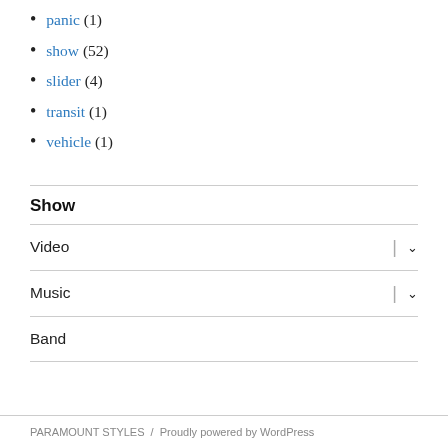panic (1)
show (52)
slider (4)
transit (1)
vehicle (1)
Show
Video
Music
Band
PARAMOUNT STYLES / Proudly powered by WordPress